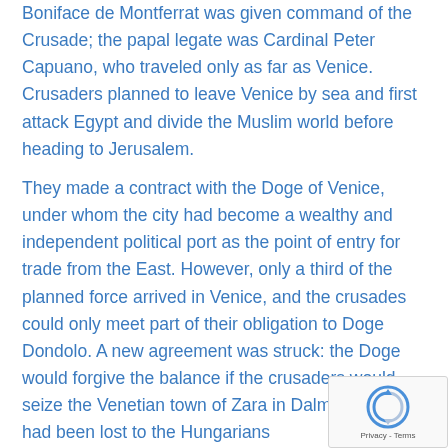Boniface de Montferrat was given command of the Crusade; the papal legate was Cardinal Peter Capuano, who traveled only as far as Venice. Crusaders planned to leave Venice by sea and first attack Egypt and divide the Muslim world before heading to Jerusalem.
They made a contract with the Doge of Venice, under whom the city had become a wealthy and independent political port as the point of entry for trade from the East. However, only a third of the planned force arrived in Venice, and the crusades could only meet part of their obligation to Doge Dondolo. A new agreement was struck: the Doge would forgive the balance if the crusaders would seize the Venetian town of Zara in Dalmatia, which had been lost to the Hungarians